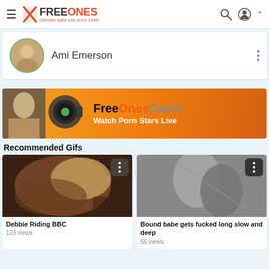FreeOnes – Ultimate babe site since 1998!
Ami Emerson
[Figure (screenshot): FreeOnesCams advertisement banner – Watch Porn Stars Live]
Recommended Gifs
[Figure (photo): Debbie Riding BBC thumbnail]
Debbie Riding BBC
123 views
[Figure (photo): Bound babe gets fucked long slow and deep thumbnail]
Bound babe gets fucked long slow and deep
56 views